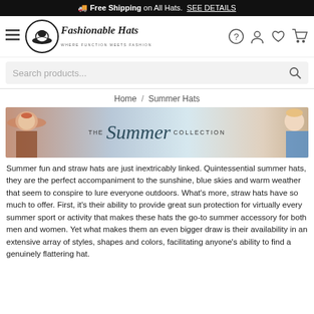🚚 Free Shipping on All Hats. SEE DETAILS
[Figure (logo): Fashionable Hats logo with circular hat icon and tagline 'Where Function Meets Fashion']
Search products...
Home / Summer Hats
[Figure (photo): The Summer Collection banner image showing women wearing summer hats at the beach]
Summer fun and straw hats are just inextricably linked. Quintessential summer hats, they are the perfect accompaniment to the sunshine, blue skies and warm weather that seem to conspire to lure everyone outdoors. What's more, straw hats have so much to offer. First, it's their ability to provide great sun protection for virtually every summer sport or activity that makes these hats the go-to summer accessory for both men and women. Yet what makes them an even bigger draw is their availability in an extensive array of styles, shapes and colors, facilitating anyone's ability to find a genuinely flattering hat.